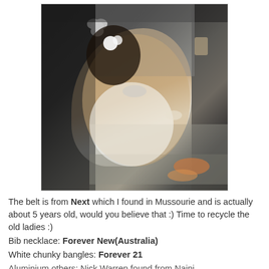[Figure (photo): A young woman wearing a white dress with a white flower in her hair, reclining on steps in a dark environment, wearing sandals and bangles.]
The belt is from Next which I found in Mussourie and is actually about 5 years old, would you believe that :) Time to recycle the old ladies :)
Bib necklace: Forever New(Australia)
White chunky bangles: Forever 21
Aluminium others: Nick Warren found from Naini...